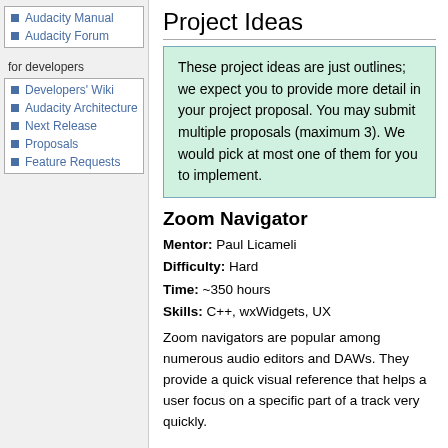Audacity Manual
Audacity Forum
for developers
Developers' Wiki
Audacity Architecture
Next Release
Proposals
Feature Requests
Project Ideas
These project ideas are just outlines; we expect you to provide more detail in your project proposal. You may submit multiple proposals (maximum 3). We would pick at most one of them for you to implement.
Zoom Navigator
Mentor: Paul Licameli
Difficulty: Hard
Time: ~350 hours
Skills: C++, wxWidgets, UX
Zoom navigators are popular among numerous audio editors and DAWs. They provide a quick visual reference that helps a user focus on a specific part of a track very quickly.